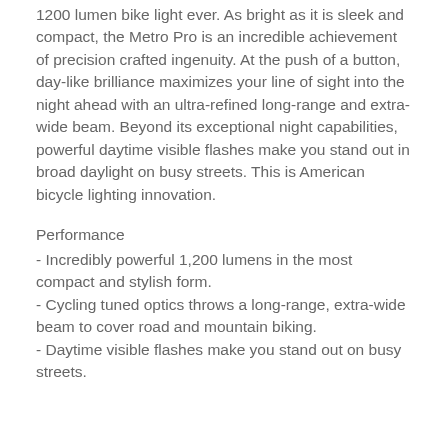1200 lumen bike light ever. As bright as it is sleek and compact, the Metro Pro is an incredible achievement of precision crafted ingenuity. At the push of a button, day-like brilliance maximizes your line of sight into the night ahead with an ultra-refined long-range and extra-wide beam. Beyond its exceptional night capabilities, powerful daytime visible flashes make you stand out in broad daylight on busy streets. This is American bicycle lighting innovation.
Performance
- Incredibly powerful 1,200 lumens in the most compact and stylish form.
- Cycling tuned optics throws a long-range, extra-wide beam to cover road and mountain biking.
- Daytime visible flashes make you stand out on busy streets.